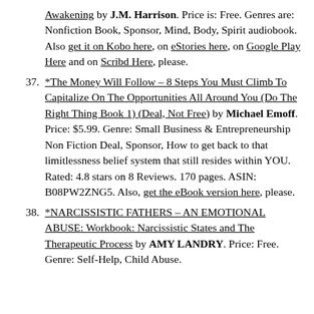Awakening by J.M. Harrison. Price is: Free. Genres are: Nonfiction Book, Sponsor, Mind, Body, Spirit audiobook. Also get it on Kobo here, on eStories here, on Google Play Here and on Scribd Here, please.
37. *The Money Will Follow – 8 Steps You Must Climb To Capitalize On The Opportunities All Around You (Do The Right Thing Book 1) (Deal, Not Free) by Michael Emoff. Price: $5.99. Genre: Small Business & Entrepreneurship Non Fiction Deal, Sponsor, How to get back to that limitlessness belief system that still resides within YOU. Rated: 4.8 stars on 8 Reviews. 170 pages. ASIN: B08PW2ZNG5. Also, get the eBook version here, please.
38. *NARCISSISTIC FATHERS – AN EMOTIONAL ABUSE: Workbook: Narcissistic States and The Therapeutic Process by AMY LANDRY. Price: Free. Genre: Self-Help, Child Abuse.